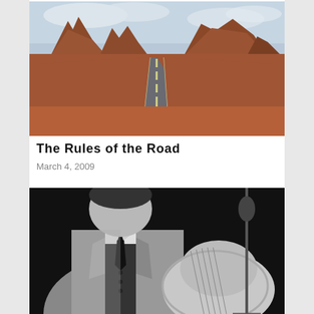[Figure (photo): Landscape photo of a long straight road stretching into the distance through red desert terrain with dramatic mesa rock formations under a cloudy sky — Monument Valley scene.]
The Rules of the Road
March 4, 2009
[Figure (photo): Black and white photo of a man in a suit jacket and tie holding a guitar, performing on stage with a microphone stand visible.]